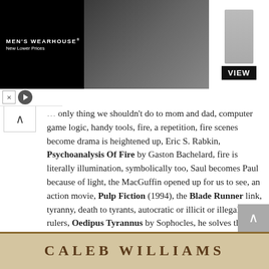[Figure (photo): Men's Wearhouse advertisement banner showing a couple in formal wear and a man in a gray suit, with 'VIEW' button. Black background with brand name and 'New Lower Prices' tagline.]
only thing we shouldn't do to mom and dad, computer game logic, handy tools, fire, a repetition, fire scenes become drama is heightened up, Eric S. Rabkin, Psychoanalysis Of Fire by Gaston Bachelard, fire is literally illumination, symbolically too, Saul becomes Paul because of light, the MacGuffin opened up for us to see, an action movie, Pulp Fiction (1994), the Blade Runner link, tyranny, death to tyrants, autocratic or illicit or illegal rulers, Oedipus Tyrannus by Sophocles, he solves the crime, the detective being the criminal, Shutter Island (2010), the guilty party, setting up an axe throwing station, Vermont roots to D.C., gleefully splitting, bloody handed, more walking the streets with a bloody axe, a plague doctor mask, happy new year!
[Figure (photo): Bottom strip showing 'CALEB WILLIAMS' text on aged/parchment-style background]